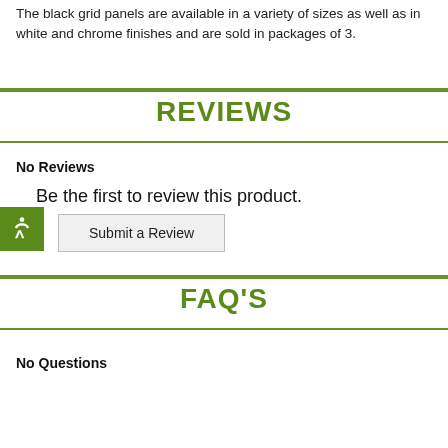The black grid panels are available in a variety of sizes as well as in white and chrome finishes and are sold in packages of 3.
REVIEWS
No Reviews
Be the first to review this product.
Submit a Review
FAQ'S
No Questions